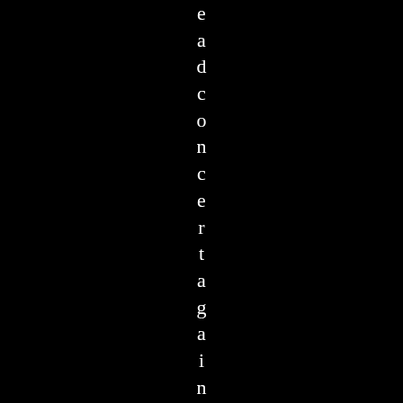eadconcertainagain! Hereali t t
Here
a
l
i
t
t